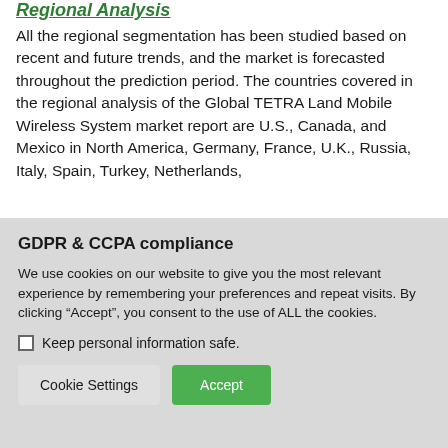Regional Analysis
All the regional segmentation has been studied based on recent and future trends, and the market is forecasted throughout the prediction period. The countries covered in the regional analysis of the Global TETRA Land Mobile Wireless System market report are U.S., Canada, and Mexico in North America, Germany, France, U.K., Russia, Italy, Spain, Turkey, Netherlands,
GDPR & CCPA compliance
We use cookies on our website to give you the most relevant experience by remembering your preferences and repeat visits. By clicking “Accept”, you consent to the use of ALL the cookies.
Keep personal information safe.
Cookie Settings   Accept